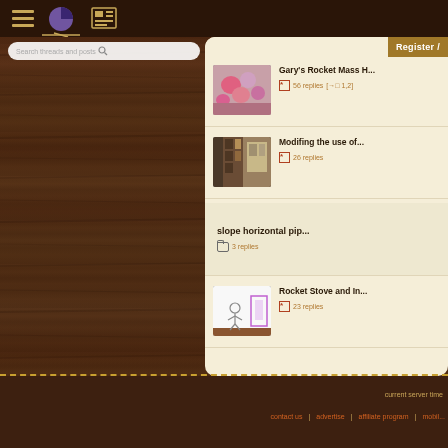Navigation bar with hamburger menu, pie chart icon, and news icon
Search threads and posts
Register /
Gary's Rocket Mass H...
56 replies [→□ 1, 2]
Modifing the use of...
26 replies
slope horizontal pip...
3 replies
Rocket Stove and In...
23 replies
current server time
contact us | advertise | affiliate program | mobil...